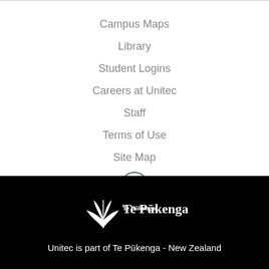Campus Maps
Library
Student Logins
Careers at Unitec
Staff
Terms of Use
Site Map
[Figure (logo): Circular icon with book/screen graphic in dark teal]
[Figure (logo): Te Pukenga logo with stylized wings/feathers icon in white on black background]
Unitec is part of Te Pūkenga - New Zealand